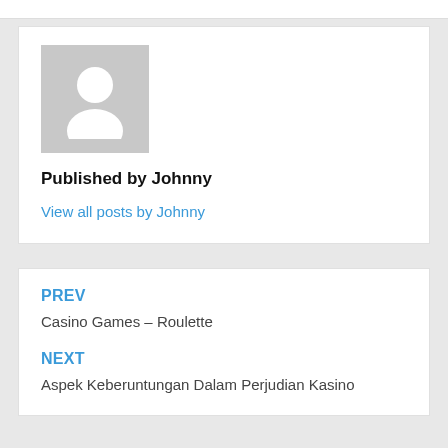[Figure (photo): Generic grey placeholder avatar icon showing a silhouette of a person]
Published by Johnny
View all posts by Johnny
PREV
Casino Games – Roulette
NEXT
Aspek Keberuntungan Dalam Perjudian Kasino